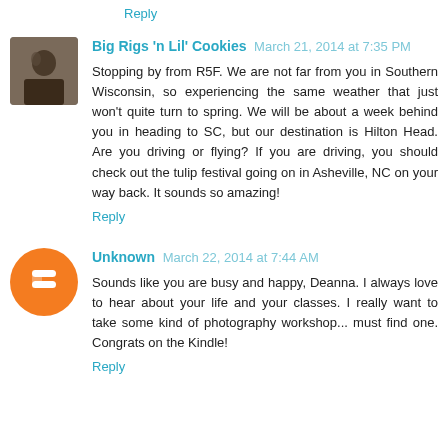Reply
Big Rigs 'n Lil' Cookies  March 21, 2014 at 7:35 PM
Stopping by from R5F. We are not far from you in Southern Wisconsin, so experiencing the same weather that just won't quite turn to spring. We will be about a week behind you in heading to SC, but our destination is Hilton Head. Are you driving or flying? If you are driving, you should check out the tulip festival going on in Asheville, NC on your way back. It sounds so amazing!
Reply
Unknown  March 22, 2014 at 7:44 AM
Sounds like you are busy and happy, Deanna. I always love to hear about your life and your classes. I really want to take some kind of photography workshop... must find one. Congrats on the Kindle!
Reply